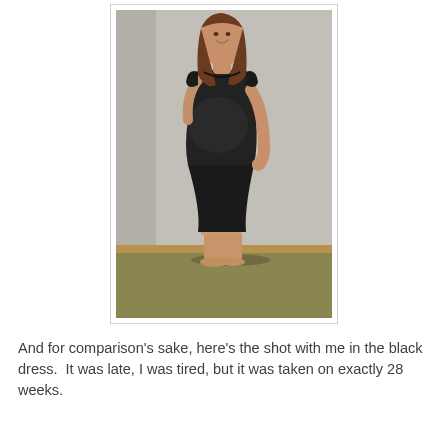[Figure (photo): A pregnant woman in a black dress standing in profile view against a light grey/beige wall, barefoot on a green-tinted carpet floor with a wooden baseboard visible. She has long brown hair and is smiling.]
And for comparison's sake, here's the shot with me in the black dress.  It was late, I was tired, but it was taken on exactly 28 weeks.